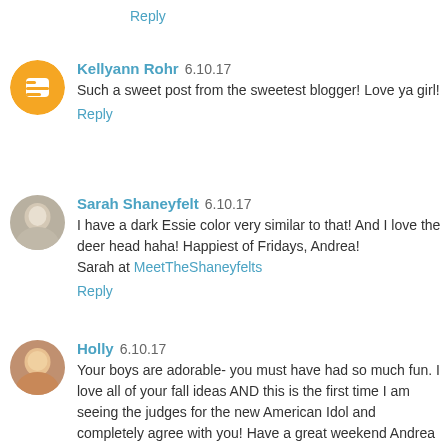Reply
Kellyann Rohr 6.10.17
Such a sweet post from the sweetest blogger! Love ya girl!
Reply
Sarah Shaneyfelt 6.10.17
I have a dark Essie color very similar to that! And I love the deer head haha! Happiest of Fridays, Andrea! Sarah at MeetTheShaneyfelts
Reply
Holly 6.10.17
Your boys are adorable- you must have had so much fun. I love all of your fall ideas AND this is the first time I am seeing the judges for the new American Idol and completely agree with you! Have a great weekend Andrea :)